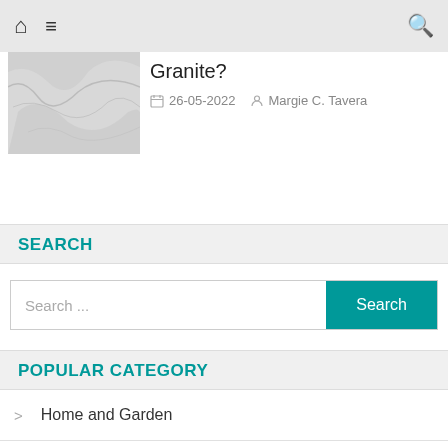Home  Menu  Search
Granite?
26-05-2022  Margie C. Tavera
SEARCH
Search ...  Search
POPULAR CATEGORY
> Home and Garden
> Home Renovation
> Fencing